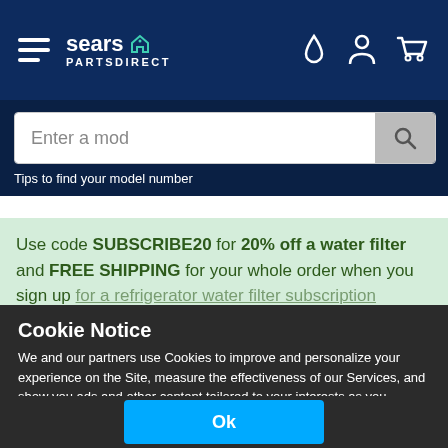sears PARTSDIRECT — navigation bar with hamburger menu and icons
Enter a mod
Tips to find your model number
Use code SUBSCRIBE20 for 20% off a water filter and FREE SHIPPING for your whole order when you sign up for a refrigerator water filter subscription
Cookie Notice
We and our partners use Cookies to improve and personalize your experience on the Site, measure the effectiveness of our Services, and show you ads and other content tailored to your interests as you navigate the web or interact with us across devices. Privacy Policy
Ok